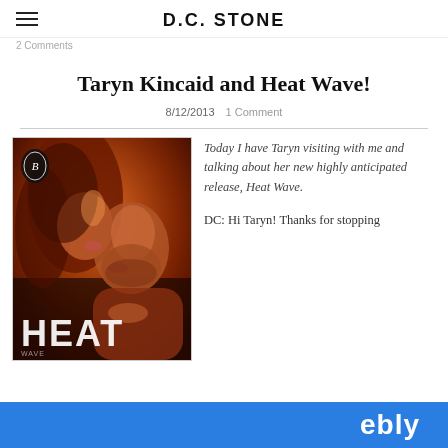D.C. STONE
2 Comments
Taryn Kincaid and Heat Wave!
8/12/2013   1 Comment
[Figure (photo): Book cover for Heat Wave by Taryn Kincaid showing a man and woman in a romantic close-up with warm amber tones, with 'HEAT' text at the bottom and a publisher logo in the top left corner]
Today I have Taryn visiting with me and talking about her new highly anticipated release, Heat Wave.

DC: Hi Taryn! Thanks for stopping
ebly